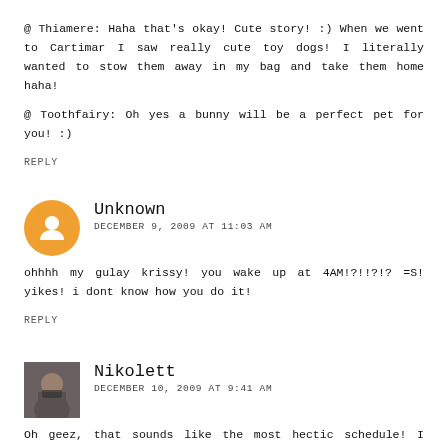@ Thiamere: Haha that's okay! Cute story! :) When we went to Cartimar I saw really cute toy dogs! I literally wanted to stow them away in my bag and take them home haha!
@ Toothfairy: Oh yes a bunny will be a perfect pet for you! :)
REPLY
Unknown
DECEMBER 9, 2009 AT 11:03 AM
ohhhh my gulay krissy! you wake up at 4AM!?!!?!? =S! yikes! i dont know how you do it!
REPLY
Nikolett
DECEMBER 10, 2009 AT 9:41 AM
Oh geez, that sounds like the most hectic schedule! I would not be able to wake up that early *hugs* That sucks about you